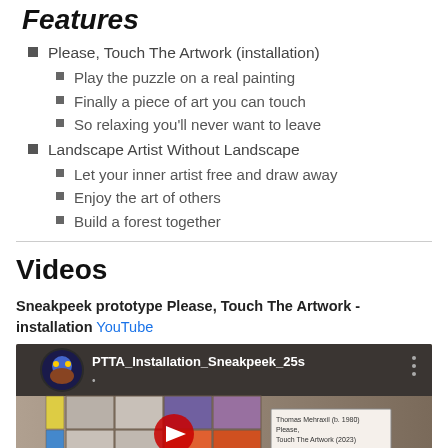Features
Please, Touch The Artwork (installation)
Play the puzzle on a real painting
Finally a piece of art you can touch
So relaxing you'll never want to leave
Landscape Artist Without Landscape
Let your inner artist free and draw away
Enjoy the art of others
Build a forest together
Videos
Sneakpeek prototype Please, Touch The Artwork - installation YouTube
[Figure (screenshot): YouTube video thumbnail showing PTTA_Installation_Sneakpeek_25s with a channel avatar (blue/yellow graphic face), video title text, three-dot menu, and a tiled artwork installation with a YouTube play button overlay.]